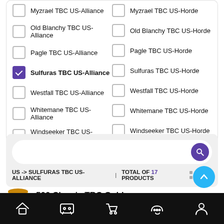Myzrael TBC US-Alliance
Myzrael TBC US-Horde
Old Blanchy TBC US-Alliance
Old Blanchy TBC US-Horde
Pagle TBC US-Alliance
Pagle TBC US-Horde
Sulfuras TBC US-Alliance (checked)
Sulfuras TBC US-Horde
Westfall TBC US-Alliance
Westfall TBC US-Horde
Whitemane TBC US-Alliance
Whitemane TBC US-Horde
Windseeker TBC US-Alliance
Windseeker TBC US-Horde
US -> SULFURAS TBC US-ALLIANCE   TOTAL OF 17 PRODUCTS
500 Classic TBC Gold
Home | Games | Cart | Chat | Account